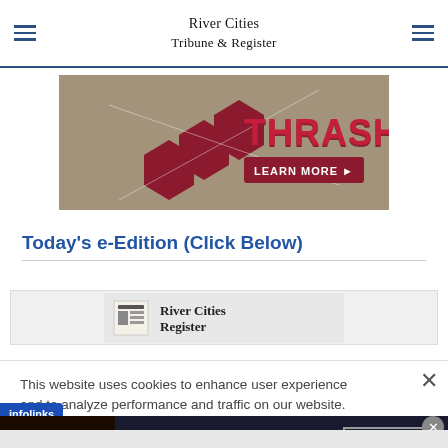River Cities Tribune & Register
[Figure (photo): Thrasher brand advertisement banner showing hexagonal pavers on gravel with 'THRASHER' text and 'LEARN MORE' button]
Today's e-Edition (Click Below)
[Figure (screenshot): River Cities Register e-Edition newspaper front page thumbnail preview]
This website uses cookies to enhance user experience and to analyze performance and traffic on our website.
[Figure (infographic): Seamless food delivery advertisement showing pizza images, 'seamless' brand name, and 'ORDER NOW' button on dark background]